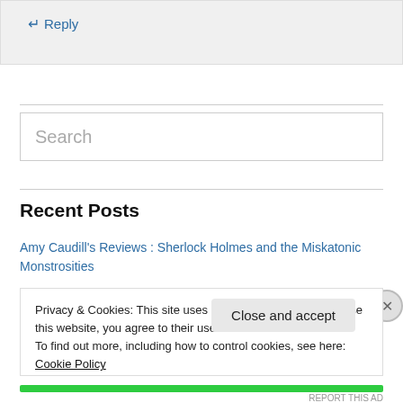↵ Reply
[Figure (screenshot): Search input box with placeholder text 'Search']
Recent Posts
Amy Caudill's Reviews : Sherlock Holmes and the Miskatonic Monstrosities
Privacy & Cookies: This site uses cookies. By continuing to use this website, you agree to their use. To find out more, including how to control cookies, see here: Cookie Policy
Close and accept